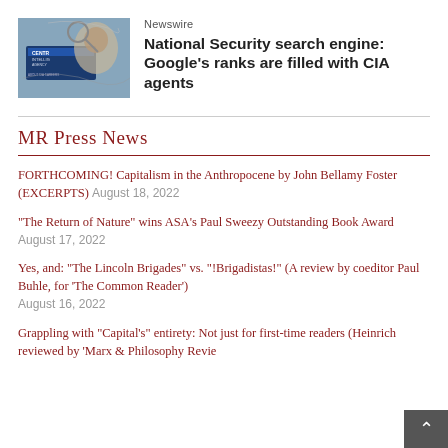[Figure (photo): Thumbnail image showing a CIA sign/logo with a face in the background]
Newswire
National Security search engine: Google’s ranks are filled with CIA agents
MR Press News
FORTHCOMING! Capitalism in the Anthropocene by John Bellamy Foster (EXCERPTS) August 18, 2022
“The Return of Nature” wins ASA’s Paul Sweezy Outstanding Book Award August 17, 2022
Yes, and: “The Lincoln Brigades” vs. “!Brigadistas!” (A review by coeditor Paul Buhle, for ‘The Common Reader’) August 16, 2022
Grappling with “Capital’s” entirety: Not just for first-time readers (Heinrich reviewed by ‘Marx & Philosophy Revie...